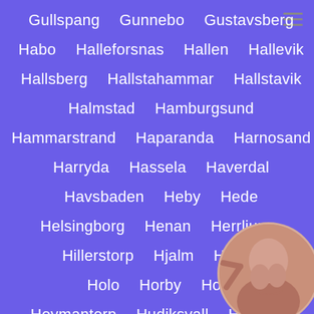Gullspang
Gunnebo
Gustavsberg
Habo
Halleforsnas
Hallen
Hallevik
Hallsberg
Hallstahammar
Hallstavik
Halmstad
Hamburgsund
Hammarstrand
Haparanda
Harnosand
Harryda
Hassela
Haverdal
Havsbaden
Heby
Hede
Helsingborg
Henan
Herrljun…
Hillerstorp
Hjalm
Hofors
Holo
Horby
Horn
Hoymantorp
Hudiksvall
Hultafors